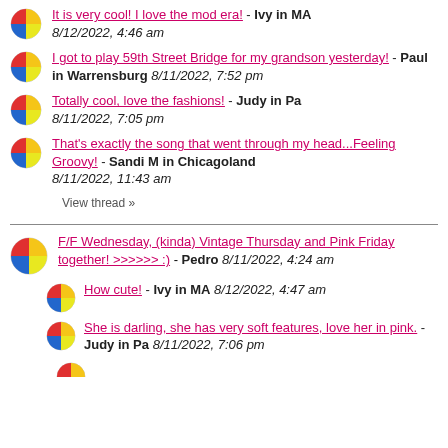It is very cool! I love the mod era! - Ivy in MA 8/12/2022, 4:46 am
I got to play 59th Street Bridge for my grandson yesterday! - Paul in Warrensburg 8/11/2022, 7:52 pm
Totally cool, love the fashions! - Judy in Pa 8/11/2022, 7:05 pm
That's exactly the song that went through my head...Feeling Groovy! - Sandi M in Chicagoland 8/11/2022, 11:43 am
View thread »
F/F Wednesday, (kinda) Vintage Thursday and Pink Friday together! >>>>>> :) - Pedro 8/11/2022, 4:24 am
How cute! - Ivy in MA 8/12/2022, 4:47 am
She is darling, she has very soft features, love her in pink. - Judy in Pa 8/11/2022, 7:06 pm